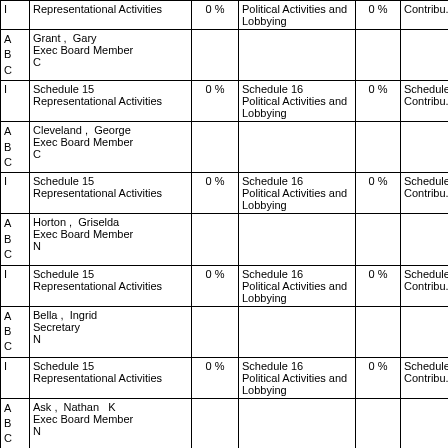|  | Name/Position/Type | Sch15% | Schedule16 | Sch16% | Amount |
| --- | --- | --- | --- | --- | --- |
| I | Representational Activities | 0% | Political Activities and Lobbying | 0% | Contribu... |
| A
B
C | Grant, Gary
Exec Board Member
C |  |  |  | $600 |
| I | Schedule 15
Representational Activities | 0% | Schedule 16
Political Activities and Lobbying | 0% | Schedule
Contribu... |
| A
B
C | Cleveland, George
Exec Board Member
C |  |  |  | $675 |
| I | Schedule 15
Representational Activities | 0% | Schedule 16
Political Activities and Lobbying | 0% | Schedule
Contribu... |
| A
B
C | Horton, Griselda
Exec Board Member
N |  |  |  | $926 |
| I | Schedule 15
Representational Activities | 0% | Schedule 16
Political Activities and Lobbying | 0% | Schedule
Contribu... |
| A
B
C | Bella, Ingrid
Secretary
N |  |  |  | $825 |
| I | Schedule 15
Representational Activities | 0% | Schedule 16
Political Activities and Lobbying | 0% | Schedule
Contribu... |
| A
B
C | Ask, Nathan K
Exec Board Member
N |  |  |  | $600 |
| I | Schedule 15
Representational Activities | 0% | Schedule 16
Political Activities and Lobbying | 0% | Schedule
Contribu... |
| A
B
C | Nassarre, Rebecca
Vice President
P |  |  |  | $225 |
| I | Schedule 15 |  | Schedule 16 |  | Schedule |